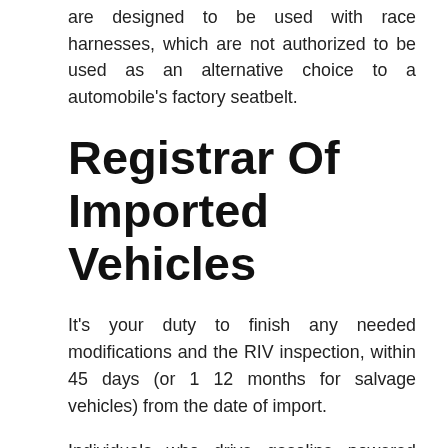are designed to be used with race harnesses, which are not authorized to be used as an alternative choice to a automobile’s factory seatbelt.
Registrar Of Imported Vehicles
It’s your duty to finish any needed modifications and the RIV inspection, within 45 days (or 1 12 months for salvage vehicles) from the date of import.
Individuals who drive gasoline powered vehicles may be able to get higher gasoline mileage soon. It’s also essential to update your insurance coverage firm as and while you make extra modifications on that you are claimed. Modificati...